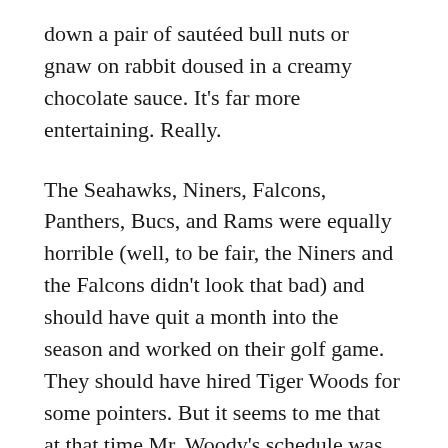down a pair of sautéed bull nuts or gnaw on rabbit doused in a creamy chocolate sauce. It's far more entertaining. Really.
The Seahawks, Niners, Falcons, Panthers, Bucs, and Rams were equally horrible (well, to be fair, the Niners and the Falcons didn't look that bad) and should have quit a month into the season and worked on their golf game. They should have hired Tiger Woods for some pointers. But it seems to me that at that time Mr. Woody's schedule was constantly booked with dewy waitresses and other assorted star fuckers.